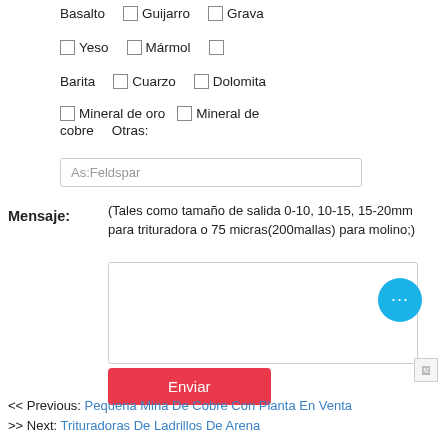Basalto   ☐ Guijarro   ☐ Grava
☐ Yeso   ☐ Mármol   ☐
Barita   ☐ Cuarzo   ☐ Dolomita
☐ Mineral de oro   ☐ Mineral de cobre   Otras:
As:Feldspar (placeholder)
Mensaje:
(Tales como tamaño de salida 0-10, 10-15, 15-20mm para trituradora o 75 micras(200mallas) para molino;)
Enviar
<< Previous: Pequena Mina De Cobre Con Planta En Venta
>> Next: Trituradoras De Ladrillos De Arena